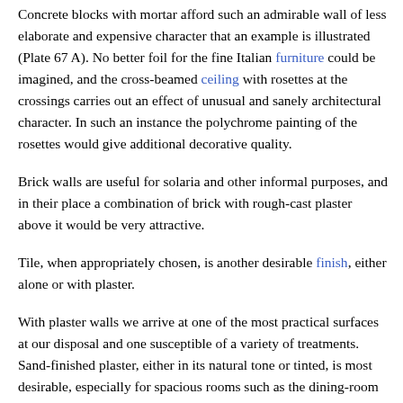is a piece of architectural dishonesty and a thing to be ashamed of.
Concrete blocks with mortar afford such an admirable wall of less elaborate and expensive character that an example is illustrated (Plate 67 A). No better foil for the fine Italian furniture could be imagined, and the cross-beamed ceiling with rosettes at the crossings carries out an effect of unusual and sanely architectural character. In such an instance the polychrome painting of the rosettes would give additional decorative quality.
Brick walls are useful for solaria and other informal purposes, and in their place a combination of brick with rough-cast plaster above it would be very attractive.
Tile, when appropriately chosen, is another desirable finish, either alone or with plaster.
With plaster walls we arrive at one of the most practical surfaces at our disposal and one susceptible of a variety of treatments. Sand-finished plaster, either in its natural tone or tinted, is most desirable, especially for spacious rooms such as the dining-room illustrated (Plate 68). While on first thought such a wall might seem to possess no great handsomeness it is found to make one of the most admirable finishes